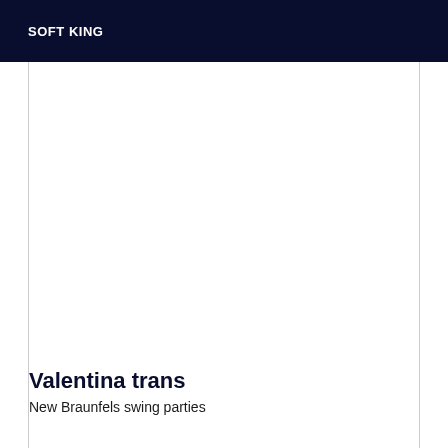SOFT KING
Valentina trans
New Braunfels swing parties